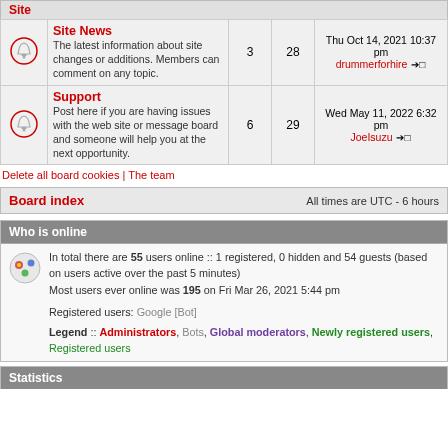Site
|  | Forum | Topics | Posts | Last post |
| --- | --- | --- | --- | --- |
| [icon] | Site News
The latest information about site changes or additions. Members can comment on any topic. | 3 | 28 | Thu Oct 14, 2021 10:37 pm drummerforhire →□ |
| [icon] | Support
Post here if you are having issues with the web site or message board and someone will help you at the next opportunity. | 6 | 29 | Wed May 11, 2022 6:32 pm JoeIsuzu →□ |
Delete all board cookies | The team
Board index
All times are UTC - 6 hours
Who is online
In total there are 55 users online :: 1 registered, 0 hidden and 54 guests (based on users active over the past 5 minutes)
Most users ever online was 195 on Fri Mar 26, 2021 5:44 pm
Registered users: Google [Bot]
Legend :: Administrators, Bots, Global moderators, Newly registered users, Registered users
Statistics